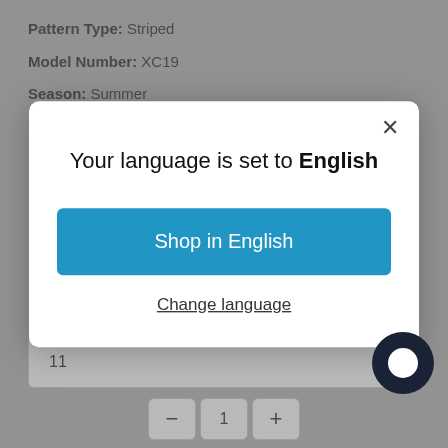Pattern Type: Striped
Model Number: XC19
Season: Summer
Lining Material: PVC
Fit: Fits true to size, take your normal size
Fashion Element: Sequins (partially visible)
[Figure (screenshot): Modal dialog overlay with language selection. Title: 'Your language is set to English'. Blue button: 'Shop in English'. Link: 'Change language'. Close X button at top right.]
Shoe Size
11
1